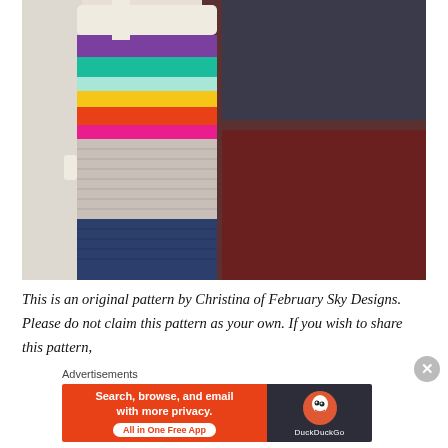[Figure (photo): A person holding a colorful crochet yoga mat bag with rainbow stripes (purple, teal, yellow, orange/red) at the top and gray/light color in the middle, and navy blue at the bottom. The person is wearing dark leggings and a dark top.]
This is an original pattern by Christina of February Sky Designs.  Please do not claim this pattern as your own. If you wish to share this pattern,
Advertisements
[Figure (screenshot): DuckDuckGo advertisement banner: orange left section reads 'Search, browse, and email with more privacy.' with 'All in One Free App' button; dark right section shows DuckDuckGo logo.]